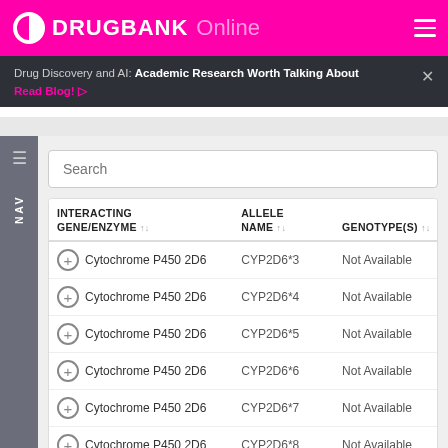DRUGBANK Online
Drug Discovery and AI: Academic Research Worth Talking About
Read Blog!
Search
| INTERACTING GENE/ENZYME | ALLELE NAME | GENOTYPE(S) |
| --- | --- | --- |
| Cytochrome P450 2D6 | CYP2D6*3 | Not Available |
| Cytochrome P450 2D6 | CYP2D6*4 | Not Available |
| Cytochrome P450 2D6 | CYP2D6*5 | Not Available |
| Cytochrome P450 2D6 | CYP2D6*6 | Not Available |
| Cytochrome P450 2D6 | CYP2D6*7 | Not Available |
| Cytochrome P450 2D6 | CYP2D6*8 | Not Available |
| Cytochrome P450 2D6 | CYP2D6*11 | Not Available |